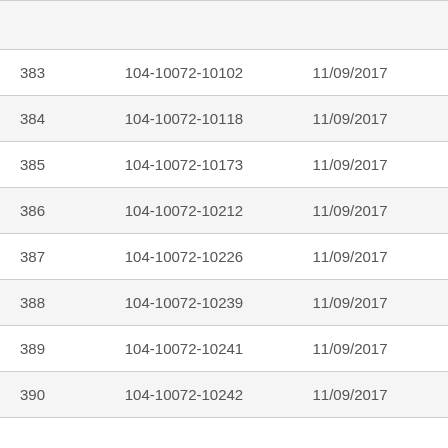| # | Document ID | Date | Status |
| --- | --- | --- | --- |
| 383 | 104-10072-10102 | 11/09/2017 | In Pa |
| 384 | 104-10072-10118 | 11/09/2017 | In Pa |
| 385 | 104-10072-10173 | 11/09/2017 | In Pa |
| 386 | 104-10072-10212 | 11/09/2017 | In Pa |
| 387 | 104-10072-10226 | 11/09/2017 | In Pa |
| 388 | 104-10072-10239 | 11/09/2017 | In Pa |
| 389 | 104-10072-10241 | 11/09/2017 | In Pa |
| 390 | 104-10072-10242 | 11/09/2017 | In Pa |